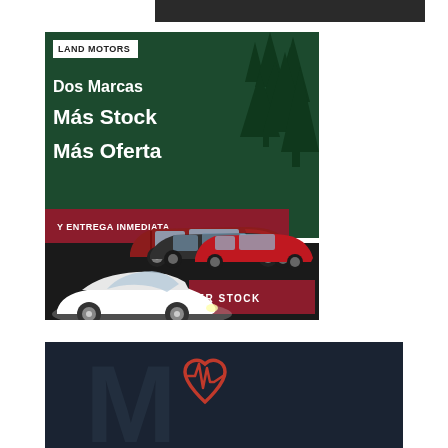[Figure (illustration): Top dark navigation bar]
[Figure (illustration): Land Motors car dealership advertisement in Spanish. Dark green background with pine trees, white text reading 'Dos Marcas Más Stock Más Oferta Y ENTREGA INMEDIATA', red CTA button 'VER STOCK', multiple car images (white convertible, red SUV, dark sedan, red compact)]
[Figure (illustration): Dark navy advertisement with large watermark letter M and a red heart rate / ECG icon in center]